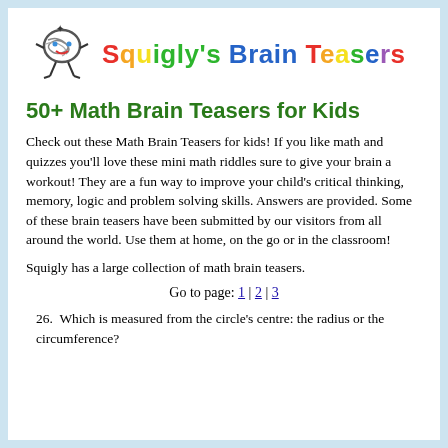[Figure (logo): Squigly's Brain Teasers logo with cartoon character and colorful text]
50+ Math Brain Teasers for Kids
Check out these Math Brain Teasers for kids! If you like math and quizzes you'll love these mini math riddles sure to give your brain a workout! They are a fun way to improve your child's critical thinking, memory, logic and problem solving skills. Answers are provided. Some of these brain teasers have been submitted by our visitors from all around the world. Use them at home, on the go or in the classroom!
Squigly has a large collection of math brain teasers.
Go to page: 1 | 2 | 3
26. Which is measured from the circle's centre: the radius or the circumference?